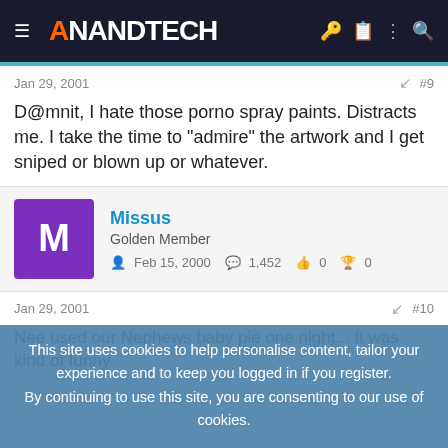AnandTech
Jan 29, 2001  #9
D@mnit, I hate those porno spray paints. Distracts me. I take the time to &quot;admire&quot; the artwork and I get sniped or blown up or whatever.
Missus
Golden Member
Feb 15, 2000  1,452  0  0
Jan 29, 2001  #10
Nee used our Nephews baby pie one night... It was kind of funny
This site uses cookies to help personalise content, tailor your experience and to keep you logged in if you register.
By continuing to use this site, you are consenting to our use of cookies.